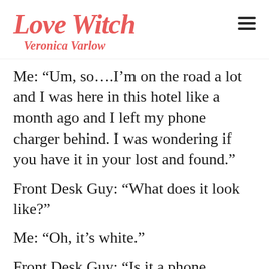Love Witch Veronica Varlow
Me: “Um, so….I’m on the road a lot and I was here in this hotel like a month ago and I left my phone charger behind. I was wondering if you have it in your lost and found.”
Front Desk Guy: “What does it look like?”
Me: “Oh, it’s white.”
Front Desk Guy: “Is it a phone charger?”